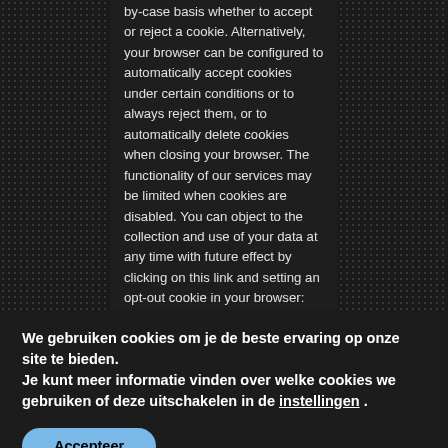by-case basis whether to accept or reject a cookie. Alternatively, your browser can be configured to automatically accept cookies under certain conditions or to always reject them, or to automatically delete cookies when closing your browser. The functionality of our services may be limited when cookies are disabled. You can object to the collection and use of your data at any time with future effect by clicking on this link and setting an opt-out cookie in your browser: https://www.quantcast.com/opt-out/. If you delete the cookies on your computer, you will have to set the opt-out cookie again.
GOOGLE ANALYTICS
We gebruiken cookies om je de beste ervaring op onze site te bieden.
Je kunt meer informatie vinden over welke cookies we gebruiken of deze uitschakelen in de instellingen .